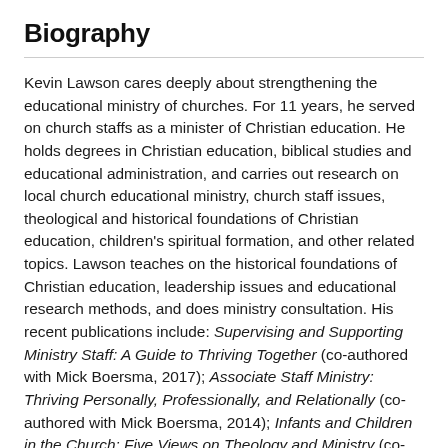Biography
Kevin Lawson cares deeply about strengthening the educational ministry of churches. For 11 years, he served on church staffs as a minister of Christian education. He holds degrees in Christian education, biblical studies and educational administration, and carries out research on local church educational ministry, church staff issues, theological and historical foundations of Christian education, children’s spiritual formation, and other related topics. Lawson teaches on the historical foundations of Christian education, leadership issues and educational research methods, and does ministry consultation. His recent publications include: Supervising and Supporting Ministry Staff: A Guide to Thriving Together (co-authored with Mick Boersma, 2017); Associate Staff Ministry: Thriving Personally, Professionally, and Relationally (co-authored with Mick Boersma, 2014); Infants and Children in the Church: Five Views on Theology and Ministry (co-edited with Adam Harwood, 2017), Understanding Children’s Spirituality: Theology, Research, and Practice (editor, 2012)